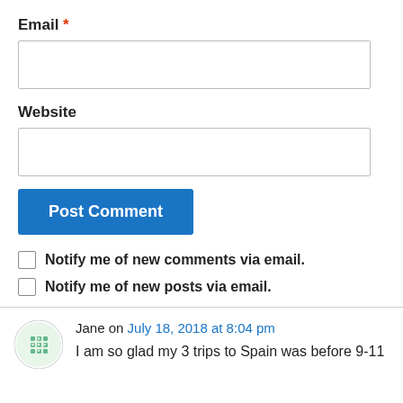Email *
Website
Post Comment
Notify me of new comments via email.
Notify me of new posts via email.
Jane on July 18, 2018 at 8:04 pm
I am so glad my 3 trips to Spain was before 9-11